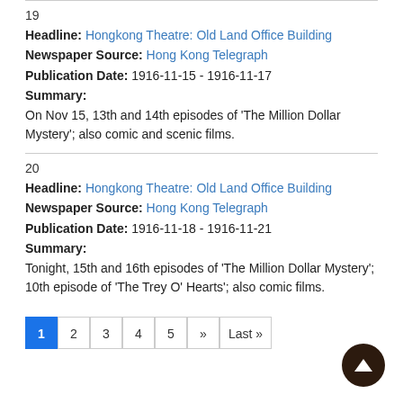19
Headline: Hongkong Theatre: Old Land Office Building
Newspaper Source: Hong Kong Telegraph
Publication Date: 1916-11-15 - 1916-11-17
Summary:
On Nov 15, 13th and 14th episodes of 'The Million Dollar Mystery'; also comic and scenic films.
20
Headline: Hongkong Theatre: Old Land Office Building
Newspaper Source: Hong Kong Telegraph
Publication Date: 1916-11-18 - 1916-11-21
Summary:
Tonight, 15th and 16th episodes of 'The Million Dollar Mystery'; 10th episode of 'The Trey O' Hearts'; also comic films.